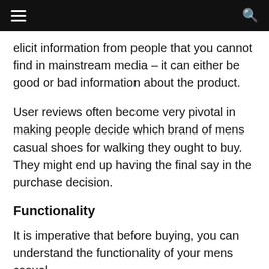≡  🔍
elicit information from people that you cannot find in mainstream media – it can either be good or bad information about the product.
User reviews often become very pivotal in making people decide which brand of mens casual shoes for walking they ought to buy. They might end up having the final say in the purchase decision.
Functionality
It is imperative that before buying, you can understand the functionality of your mens casual